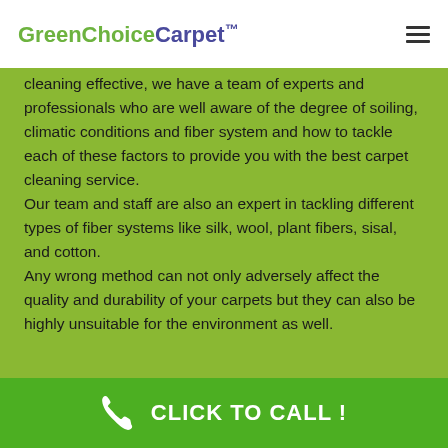GreenChoiceCarpet™
cleaning effective, we have a team of experts and professionals who are well aware of the degree of soiling, climatic conditions and fiber system and how to tackle each of these factors to provide you with the best carpet cleaning service.
Our team and staff are also an expert in tackling different types of fiber systems like silk, wool, plant fibers, sisal, and cotton.
Any wrong method can not only adversely affect the quality and durability of your carpets but they can also be highly unsuitable for the environment as well.
CLICK TO CALL !